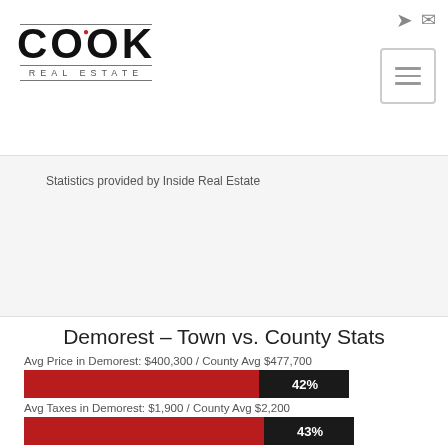[Figure (logo): Cook Real Estate logo with COOK in large black letters and 'REAL ESTATE' subtitle with decorative divider lines]
Statistics provided by Inside Real Estate
Demorest – Town vs. County Stats
Avg Price in Demorest: $400,300 / County Avg $477,700
[Figure (bar-chart): Avg Price comparison]
Avg Taxes in Demorest: $1,900 / County Avg $2,200
[Figure (bar-chart): Avg Taxes comparison]
Avg Sq. Ft. in Demorest: 2,149 / County Avg 2,606